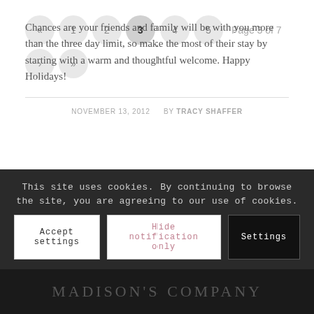Chances are your friends and family will be with you more than the three day limit, so make the most of their stay by starting with a warm and thoughtful welcome. Happy Holidays!
NOVEMBER 13, 2012   BY TRACY SHAFFER
« 1 2 3 4 5 Page 3 of 7 › »
This site uses cookies. By continuing to browse the site, you are agreeing to our use of cookies.
Accept settings   Hide notification only   Settings
MADISON'S COMPANY